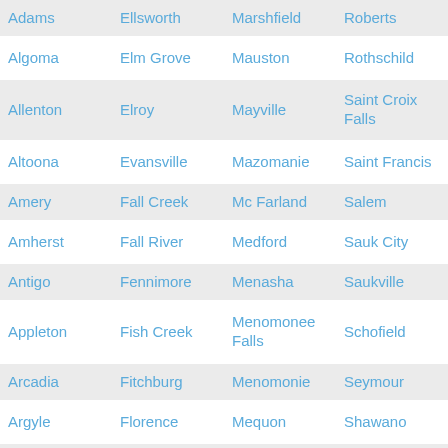| Adams | Ellsworth | Marshfield | Roberts |
| Algoma | Elm Grove | Mauston | Rothschild |
| Allenton | Elroy | Mayville | Saint Croix Falls |
| Altoona | Evansville | Mazomanie | Saint Francis |
| Amery | Fall Creek | Mc Farland | Salem |
| Amherst | Fall River | Medford | Sauk City |
| Antigo | Fennimore | Menasha | Saukville |
| Appleton | Fish Creek | Menomonee Falls | Schofield |
| Arcadia | Fitchburg | Menomonie | Seymour |
| Argyle | Florence | Mequon | Shawano |
| Ashland | Fond du Lac | Mercer | Sheboygan |
| Ashwaubeno | Fontano | Morrill | Sheboygan |